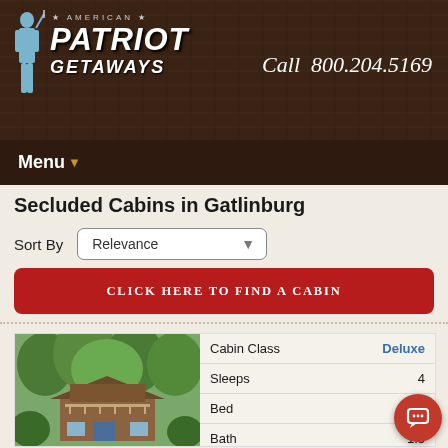[Figure (logo): American Patriot Getaways logo with colonial soldier figure, bold white italic text on dark wood background]
Call  800.204.5169
Menu
Secluded Cabins in Gatlinburg
Sort By  Relevance
CLICK HERE TO FIND A CABIN
|  |  |
| --- | --- |
| Cabin Class | Deluxe |
| Sleeps | 4 |
| Bed |  |
| Bath | 1.5 |
[Figure (photo): Photo of a log cabin in trees surrounded by green foliage]